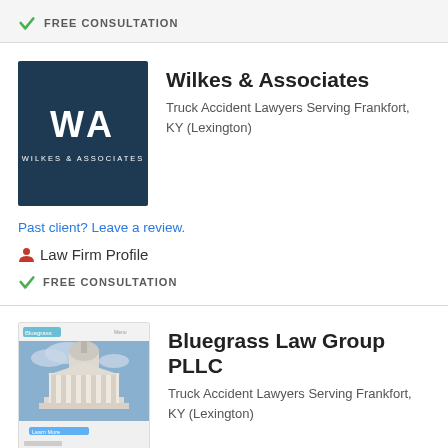✓ FREE CONSULTATION
Wilkes & Associates
Truck Accident Lawyers Serving Frankfort, KY (Lexington)
Past client? Leave a review.
🧑 Law Firm Profile
✓ FREE CONSULTATION
Bluegrass Law Group PLLC
Truck Accident Lawyers Serving Frankfort, KY (Lexington)